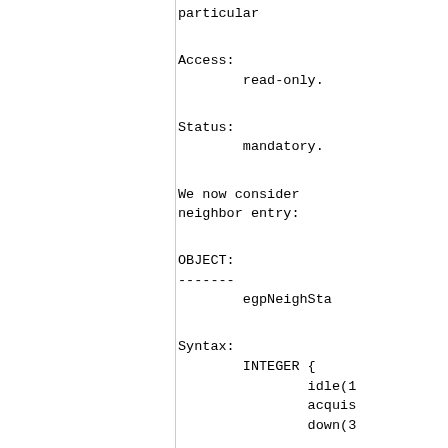particular
Access:
        read-only.
Status:
        mandatory.
We now consider
neighbor entry:
OBJECT:
-------
        egpNeighSta
Syntax:
        INTEGER {
                idle(1
                acquis
                down(3